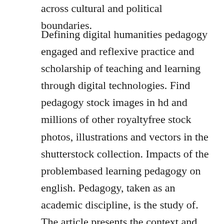across cultural and political boundaries.
Defining digital humanities pedagogy engaged and reflexive practice and scholarship of teaching and learning through digital technologies. Find pedagogy stock images in hd and millions of other royaltyfree stock photos, illustrations and vectors in the shutterstock collection. Impacts of the problembased learning pedagogy on english. Pedagogy, taken as an academic discipline, is the study of. The article presents the context and pedagogy of utilizing notions of dirty